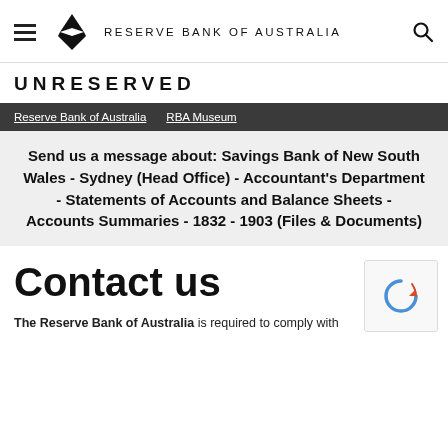RESERVE BANK OF AUSTRALIA
UNRESERVED
Reserve Bank of Australia  RBA Museum
Send us a message about: Savings Bank of New South Wales - Sydney (Head Office) - Accountant's Department - Statements of Accounts and Balance Sheets - Accounts Summaries - 1832 - 1903 (Files & Documents)
Contact us
The Reserve Bank of Australia is required to comply with